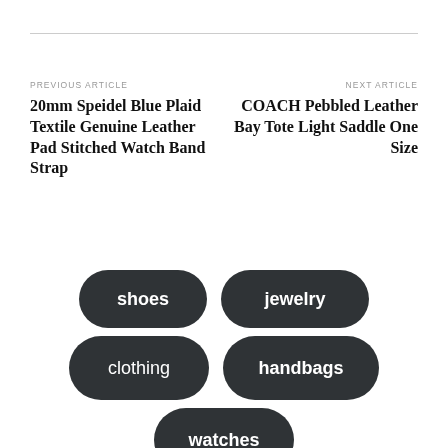PREVIOUS ARTICLE
20mm Speidel Blue Plaid Textile Genuine Leather Pad Stitched Watch Band Strap
NEXT ARTICLE
COACH Pebbled Leather Bay Tote Light Saddle One Size
shoes
jewelry
clothing
handbags
watches (partial)